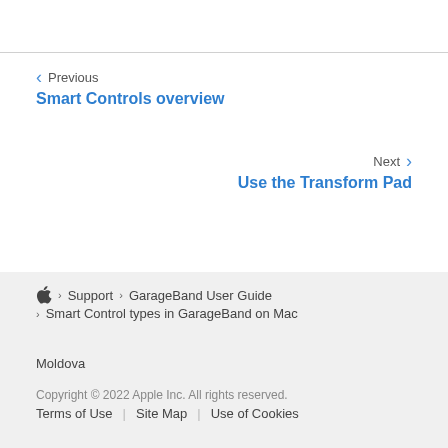Previous
Smart Controls overview
Next
Use the Transform Pad
Apple > Support > GarageBand User Guide
> Smart Control types in GarageBand on Mac
Moldova
Copyright © 2022 Apple Inc. All rights reserved.
Terms of Use | Site Map | Use of Cookies